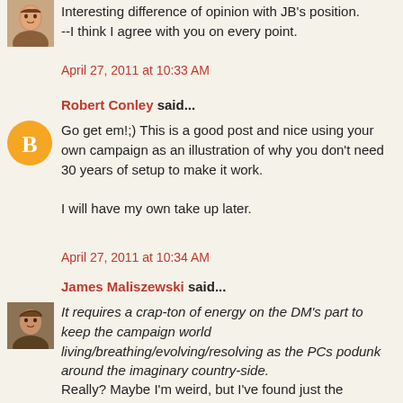[Figure (photo): Female user avatar photo thumbnail]
Interesting difference of opinion with JB's position. --I think I agree with you on every point.
April 27, 2011 at 10:33 AM
Robert Conley said...
[Figure (logo): Orange circle Blogger 'B' logo avatar]
Go get em!;) This is a good post and nice using your own campaign as an illustration of why you don't need 30 years of setup to make it work.

I will have my own take up later.
April 27, 2011 at 10:34 AM
James Maliszewski said...
[Figure (photo): Male user avatar photo thumbnail]
It requires a crap-ton of energy on the DM's part to keep the campaign world living/breathing/evolving/resolving as the PCs podunk around the imaginary country-side.
Really? Maybe I'm weird, but I've found just the opposite. A sandbox campaign demands a lot less energy on my part than do other styles of campaigns.